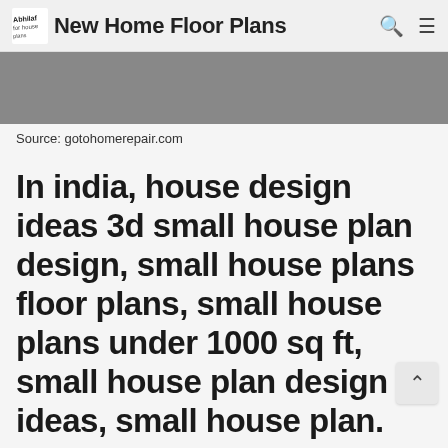New Home Floor Plans
[Figure (photo): Gray rectangle representing a cropped image of a floor plan or house design]
Source: gotohomerepair.com
In india, house design ideas 3d small house plan design, small house plans floor plans, small house plans under 1000 sq ft, small house plan design ideas, small house plan.